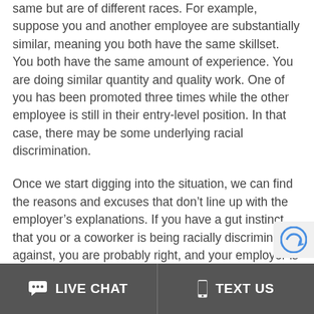same but are of different races. For example, suppose you and another employee are substantially similar, meaning you both have the same skillset. You both have the same amount of experience. You are doing similar quantity and quality work. One of you has been promoted three times while the other employee is still in their entry-level position. In that case, there may be some underlying racial discrimination.
Once we start digging into the situation, we can find the reasons and excuses that don't line up with the employer's explanations. If you have a gut instinct that you or a coworker is being racially discriminated against, you are probably right, and your employer is just trying to cover it up.
LIVE CHAT   TEXT US